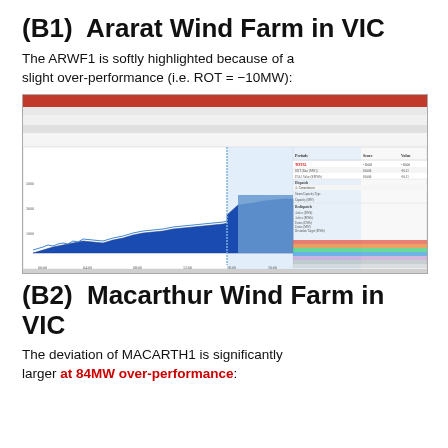(B1)  Ararat Wind Farm in VIC
The ARWF1 is softly highlighted because of a slight over-performance (i.e. ROT = −10MW):
[Figure (screenshot): Software screenshot showing Ararat Wind Farm data with a time-series chart (blue area/bar chart) on the left and a data table on the right, with a light blue highlighted column indicating current period. The chart shows power output over time with a stepped increase visible near the end of the period.]
(B2)  Macarthur Wind Farm in VIC
The deviation of MACARTH1 is significantly larger at 84MW over-performance: